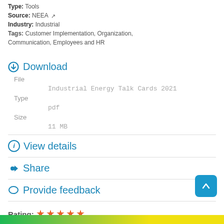Type: Tools
Source: NEEA
Industry: Industrial
Tags: Customer Implementation, Organization, Communication, Employees and HR
Download
File: Industrial Energy Talk Cards 2021
Type: pdf
Size: 11 MB
View details
Share
Provide feedback
Rating: ★★★★★
Rate this resource